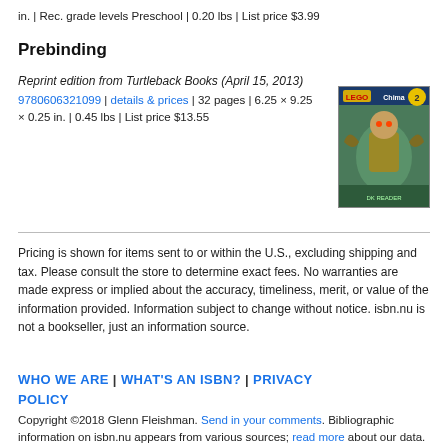in. | Rec. grade levels Preschool | 0.20 lbs | List price $3.99
Prebinding
Reprint edition from Turtleback Books (April 15, 2013)
9780606321099 | details & prices | 32 pages | 6.25 x 9.25 x 0.25 in. | 0.45 lbs | List price $13.55
[Figure (photo): Book cover image for Lego Chima DK Reader Level 2]
Pricing is shown for items sent to or within the U.S., excluding shipping and tax. Please consult the store to determine exact fees. No warranties are made express or implied about the accuracy, timeliness, merit, or value of the information provided. Information subject to change without notice. isbn.nu is not a bookseller, just an information source.
WHO WE ARE | WHAT'S AN ISBN? | PRIVACY POLICY
Copyright ©2018 Glenn Fleishman. Send in your comments. Bibliographic information on isbn.nu appears from various sources; read more about our data.